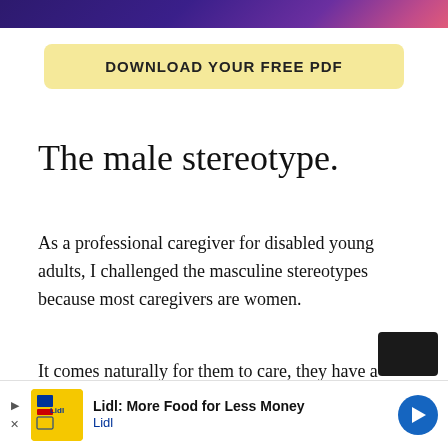[Figure (illustration): Decorative header banner with purple/pink gradient background]
DOWNLOAD YOUR FREE PDF
The male stereotype.
As a professional caregiver for disabled young adults, I challenged the masculine stereotypes because most caregivers are women.
It comes naturally for them to care, they have a motherly instinct, whereas we are meant to be the protectors.
It was difficult for me to say what I did for work wh...
[Figure (advertisement): Lidl advertisement banner: Lidl: More Food for Less Money, with Lidl logo and blue navigation arrow]